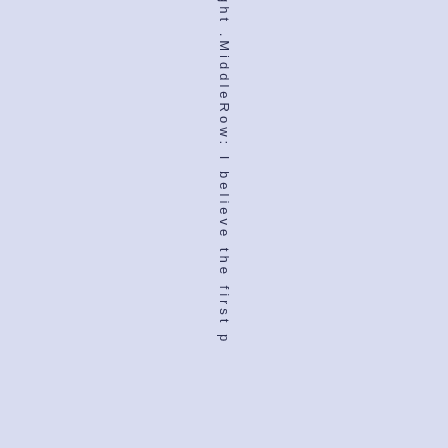ght .MiddleRow: I believe the first p